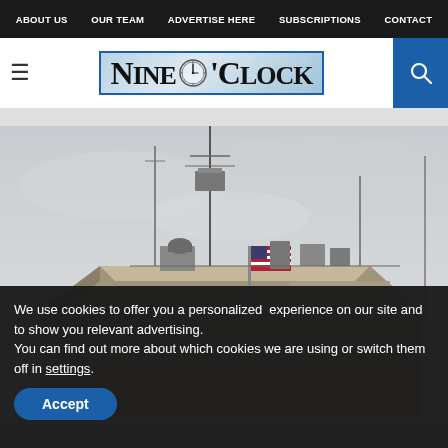ABOUT US | OUR TEAM | ADVERTISE HERE | SUBSCRIPTIONS | CONTACT
NINE O'CLOCK
[Figure (photo): Military radar/defense installation building with US flag and antenna arrays, photographed against an overcast grey sky]
We use cookies to offer you a personalized experience on our site and to show you relevant advertising. You can find out more about which cookies we are using or switch them off in settings.